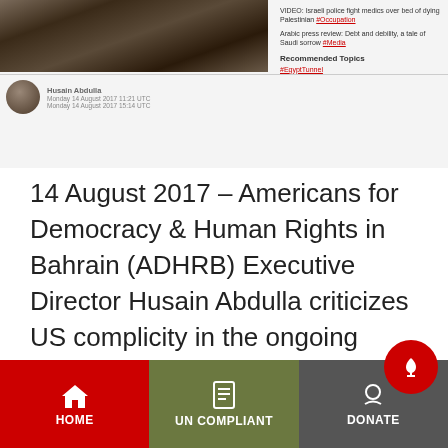[Figure (screenshot): Screenshot of a news website showing an article image on the left (rocky/earthy texture), author avatar and name on lower left, and sidebar links on the right including video and Arabic press review links plus Recommended Topics section]
14 August 2017 – Americans for Democracy & Human Rights in Bahrain (ADHRB) Executive Director Husain Abdulla criticizes US complicity in the ongoing violence in Awamiya, Saudi Arabia and condemns all violence that has occurred in the area over the past months. “The Saudi government’s ongoing military operation in Awamiya is buttressed and sustained by[...]
Continue reading →